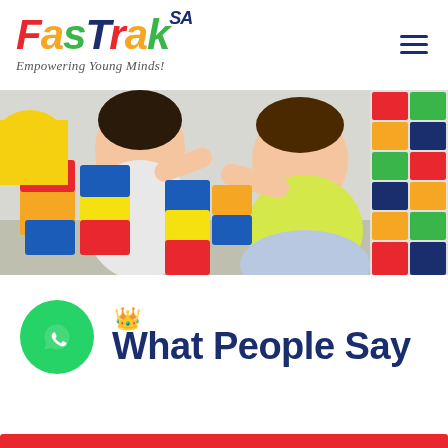[Figure (logo): FasTrak SA logo with colorful italic letters and tagline 'Empowering Young Minds!']
[Figure (photo): Two young children playing with colorful building blocks (Lego-style), seated on the floor in what appears to be a classroom or play area]
[Figure (logo): WhatsApp green circular button icon on the left side]
What People Say